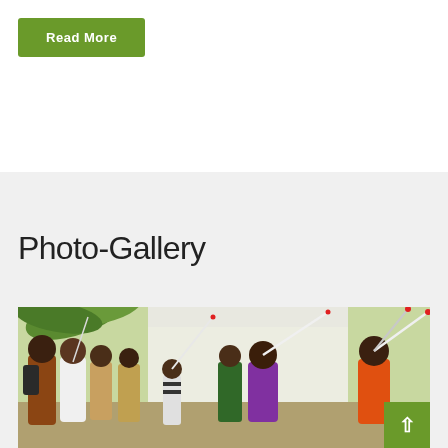Read More
Photo-Gallery
[Figure (photo): Group of people outdoors, some holding white canes, standing near a tent with palm trees in the background. A woman on the right is raising a white cane in the air.]